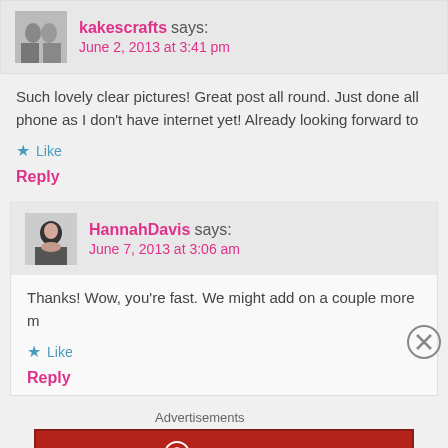kakescrafts says: June 2, 2013 at 3:41 pm
Such lovely clear pictures! Great post all round. Just done all phone as I don't have internet yet! Already looking forward to
★ Like
Reply
HannahDavis says: June 7, 2013 at 3:06 am
Thanks! Wow, you're fast. We might add on a couple more m
★ Like
Reply
Advertisements
[Figure (logo): Longreads advertisement banner: red background with Longreads logo and tagline 'The best stories on the web – ours, and everyone else's.']